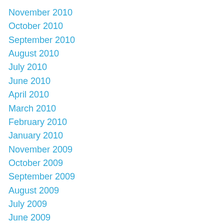November 2010
October 2010
September 2010
August 2010
July 2010
June 2010
April 2010
March 2010
February 2010
January 2010
November 2009
October 2009
September 2009
August 2009
July 2009
June 2009
May 2009
April 2009
March 2009
February 2009